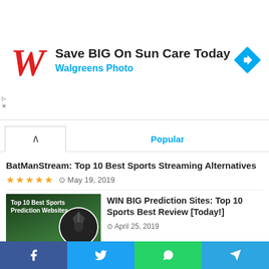[Figure (illustration): Walgreens advertisement banner with red cursive W logo, 'Save BIG On Sun Care Today' headline, 'Walgreens Photo' subtitle in blue, and blue navigation arrow icon on right]
Popular
BatManStream: Top 10 Best Sports Streaming Alternatives
★★★★★  ⊙ May 19, 2019
[Figure (photo): Soccer ball on grass with text overlay: 'Top 10 Best Sports Prediction Websites' and 'MySportDab.com']
WIN BIG Prediction Sites: Top 10 Sports Best Review [Today!]
⊙ April 25, 2019
“He’s A Top Striker” – Man Utd Coach Solksjaer Praises Odion Ighalo After Double In 3-0 Win!
⊙ March 6, 2020
UEFA Europa League Last-16 Draw COMPLETED [Full List]
⊙ February 28, 2020